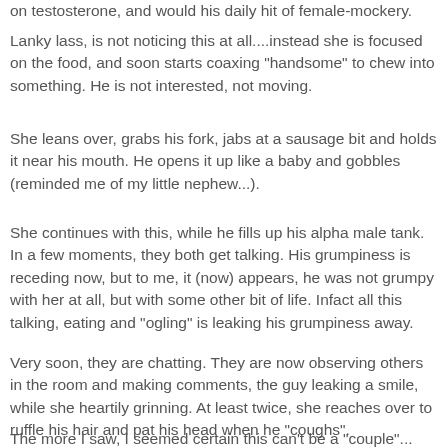on testosterone, and would his daily hit of female-mockery.
Lanky lass, is not noticing this at all....instead she is focused on the food, and soon starts coaxing "handsome" to chew into something. He is not interested, not moving.
She leans over, grabs his fork, jabs at a sausage bit and holds it near his mouth. He opens it up like a baby and gobbles (reminded me of my little nephew...).
She continues with this, while he fills up his alpha male tank. In a few moments, they both get talking. His grumpiness is receding now, but to me, it (now) appears, he was not grumpy with her at all, but with some other bit of life. Infact all this talking, eating and "ogling" is leaking his grumpiness away.
Very soon, they are chatting. They are now observing others in the room and making comments, the guy leaking a smile, while she heartily grinning. At least twice, she reaches over to ruffle his hair and pat his head when he "coughs".
The more I saw, I seemed certain this can't be a "couple"...